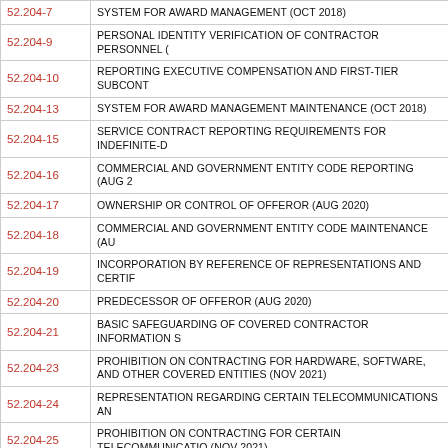| Code | Description |
| --- | --- |
| 52.204-7 | SYSTEM FOR AWARD MANAGEMENT (OCT 2018) |
| 52.204-9 | PERSONAL IDENTITY VERIFICATION OF CONTRACTOR PERSONNEL ( |
| 52.204-10 | REPORTING EXECUTIVE COMPENSATION AND FIRST-TIER SUBCONT |
| 52.204-13 | SYSTEM FOR AWARD MANAGEMENT MAINTENANCE (OCT 2018) |
| 52.204-15 | SERVICE CONTRACT REPORTING REQUIREMENTS FOR INDEFINITE-D |
| 52.204-16 | COMMERCIAL AND GOVERNMENT ENTITY CODE REPORTING (AUG 2 |
| 52.204-17 | OWNERSHIP OR CONTROL OF OFFEROR (AUG 2020) |
| 52.204-18 | COMMERCIAL AND GOVERNMENT ENTITY CODE MAINTENANCE (AU |
| 52.204-19 | INCORPORATION BY REFERENCE OF REPRESENTATIONS AND CERTIF |
| 52.204-20 | PREDECESSOR OF OFFEROR (AUG 2020) |
| 52.204-21 | BASIC SAFEGUARDING OF COVERED CONTRACTOR INFORMATION S |
| 52.204-23 | PROHIBITION ON CONTRACTING FOR HARDWARE, SOFTWARE, AND OTHER COVERED ENTITIES (NOV 2021) |
| 52.204-24 | REPRESENTATION REGARDING CERTAIN TELECOMMUNICATIONS AN |
| 52.204-25 | PROHIBITION ON CONTRACTING FOR CERTAIN TELECOMMUNICATIO (NOV 2021) |
| 52.208-9 | CONTRACTOR USE OF MANDATORY SOURCES OF SUPPLY OR SERVIC |
| 52.209-2 | PROHIBITION ON CONTRACTING WITH INVERTED DOMESTIC CORPO |
| 52.209-5 | CERTIFICATION REGARDING RESPONSIBILITY MATTERS (AUG 2020) |
| 52.209-6 | PROTECTING THE GOVERNMENTS INTEREST WHEN SUBCONTRACTI PROPOSED FOR DEBARMENT (NOV 2021) |